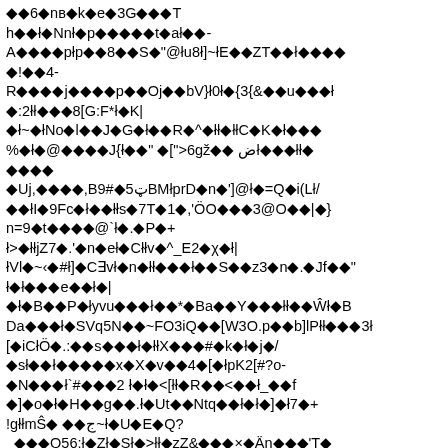Corrupted/encoded text block with diamond replacement characters and mixed ASCII symbols across multiple lines